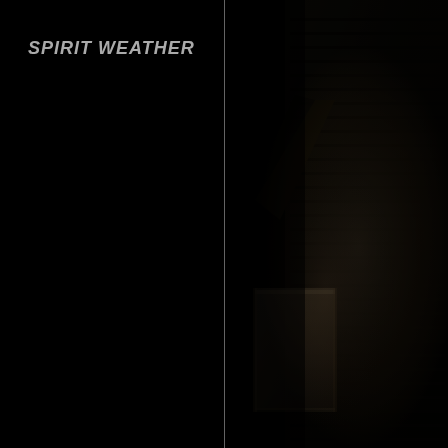SPIRIT WEATHER
[Figure (photo): Very dark nighttime photograph showing the corner of a brick building with a window/ledge visible, dimly lit, possibly with rain or snow visible. Scene is nearly entirely black with subtle architectural details emerging from the darkness.]